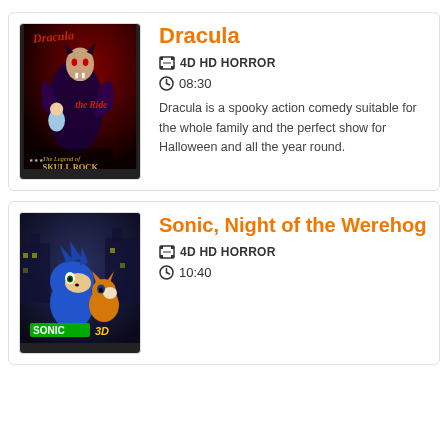Dracula
4D HD HORROR
08:30
Dracula is a spooky action comedy suitable for the whole family and the perfect show for Halloween and all the year round.
[Figure (photo): Movie poster for Dracula the Ride, animated horror comedy featuring Dracula and a scared character, text 'Skull Rock']
Sonic, Night of the Werehog
4D HD HORROR
10:40
[Figure (photo): Movie poster for Sonic Night of the Werehog, featuring animated Sonic characters in a spooky setting]